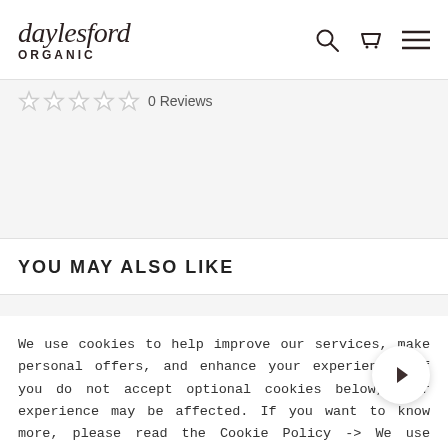daylesford ORGANIC
0 Reviews
YOU MAY ALSO LIKE
We use cookies to help improve our services, make personal offers, and enhance your experience. If you do not accept optional cookies below, your experience may be affected. If you want to know more, please read the Cookie Policy -> We use cookies to improve our services, make personal offers, and enhance your experience. If you do not accept optional